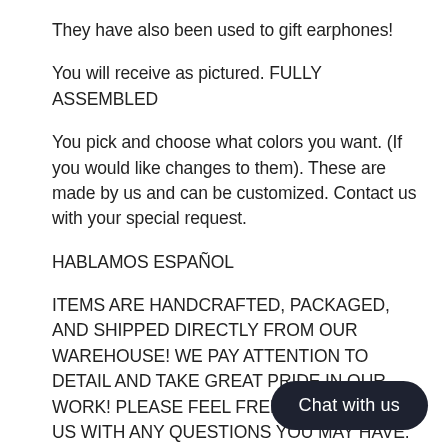They have also been used to gift earphones!
You will receive as pictured. FULLY ASSEMBLED
You pick and choose what colors you want. (If you would like changes to them). These are made by us and can be customized. Contact us with your special request.
HABLAMOS ESPAÑOL
ITEMS ARE HANDCRAFTED, PACKAGED, AND SHIPPED DIRECTLY FROM OUR WAREHOUSE! WE PAY ATTENTION TO DETAIL AND TAKE GREAT PRIDE IN OUR WORK! PLEASE FEEL FREE TO CONTACT US WITH ANY QUESTIONS YOU MAY HAVE.
PLEASE READ - This listing is strictly f... creative services to create your item. A... trademarks of the character images used belong to their respective owners and their worlds. This item is not...